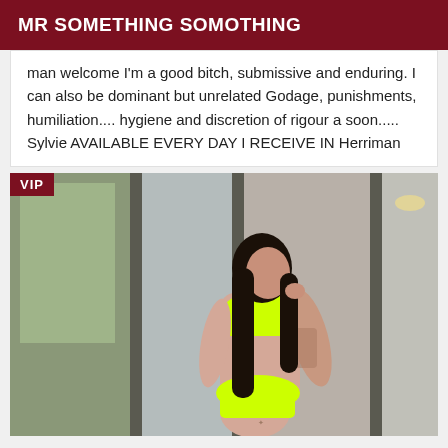MR SOMETHING SOMOTHING
man welcome I'm a good bitch, submissive and enduring. I can also be dominant but unrelated Godage, punishments, humiliation.... hygiene and discretion of rigour a soon..... Sylvie AVAILABLE EVERY DAY I RECEIVE IN Herriman
[Figure (photo): Woman in neon yellow bikini posing indoors near glass sliding doors, with long dark hair and tattoos on arm. VIP badge in top left corner.]